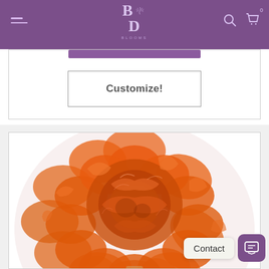BD — navigation header with logo, menu, search, cart
Customize!
[Figure (photo): Close-up photo of an orange carnation flower with ruffled petals against a white background]
Contact